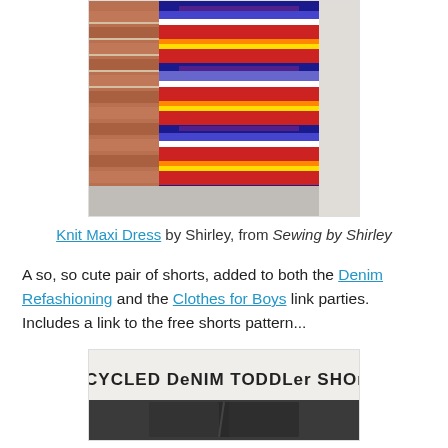[Figure (photo): Photo of a colorful striped knit maxi dress displayed against a brick wall exterior]
Knit Maxi Dress by Shirley, from Sewing by Shirley
A so, so cute pair of shorts, added to both the Denim Refashioning and the Clothes for Boys link parties. Includes a link to the free shorts pattern...
[Figure (photo): Image showing text 'UPCYCLED DENIM TODDLER SHORTS' with a photo of dark denim shorts below]